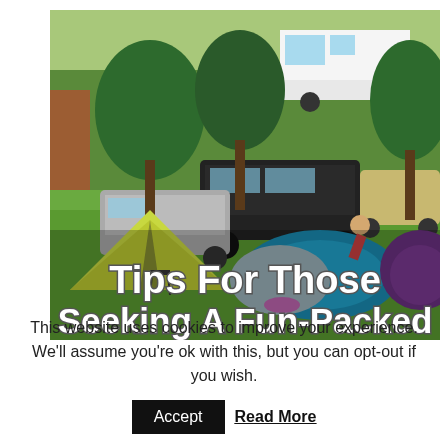[Figure (photo): A camping scene with colorful tents (yellow/green, blue/grey, purple), trees, cars, a motorhome, and people on a grassy campsite. Overlaid text reads 'Tips For Those Seeking A Fun-Packed' in bold white font with dark outline.]
This website uses cookies to improve your experience. We'll assume you're ok with this, but you can opt-out if you wish.
Accept   Read More